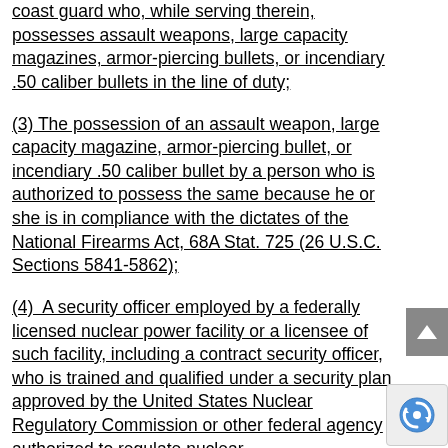coast guard who, while serving therein, possesses assault weapons, large capacity magazines, armor-piercing bullets, or incendiary .50 caliber bullets in the line of duty;
(3) The possession of an assault weapon, large capacity magazine, armor-piercing bullet, or incendiary .50 caliber bullet by a person who is authorized to possess the same because he or she is in compliance with the dictates of the National Firearms Act, 68A Stat. 725 (26 U.S.C. Sections 5841-5862);
(4)  A security officer employed by a federally licensed nuclear power facility or a licensee of such facility, including a contract security officer, who is trained and qualified under a security plan approved by the United States Nuclear Regulatory Commission or other federal agency authorized to regulate nuclear